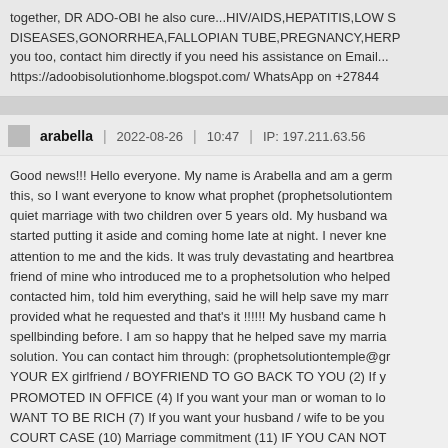together, DR ADO-OBI he also cure...HIV/AIDS,HEPATITIS,LOW S DISEASES,GONORRHEA,FALLOPIAN TUBE,PREGNANCY,HERP you too, contact him directly if you need his assistance on Email... https://adoobisolutionhome.blogspot.com/ WhatsApp on +27844
arabella | 2022-08-26 | 10:47 | IP: 197.211.63.56
Good news!!! Hello everyone. My name is Arabella and am a germ this, so I want everyone to know what prophet (prophetsolutiontem quiet marriage with two children over 5 years old. My husband wa started putting it aside and coming home late at night. I never kne attention to me and the kids. It was truly devastating and heartbrea friend of mine who introduced me to a prophetsolution who helped contacted him, told him everything, said he will help save my marr provided what he requested and that's it !!!!!! My husband came h spellbinding before. I am so happy that he helped save my marria solution. You can contact him through: (prophetsolutiontemple@gr YOUR EX girlfriend / BOYFRIEND TO GO BACK TO YOU (2) If y PROMOTED IN OFFICE (4) If you want your man or woman to lo WANT TO BE RICH (7) If you want your husband / wife to be you COURT CASE (10) Marriage commitment (11) IF YOU CAN NOT complete cure for HIV / AIDS And more... Contact him now at: (pro whatsapp number..+2348073001706.